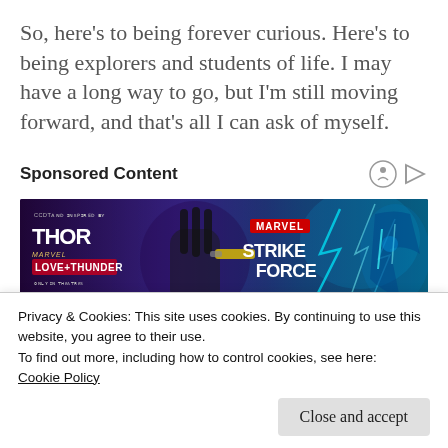So, here's to being forever curious. Here's to being explorers and students of life. I may have a long way to go, but I'm still moving forward, and that's all I can ask of myself.
Sponsored Content
[Figure (illustration): Advertisement banner for Marvel Strike Force game, featuring Thor: Love and Thunder themed content with a female superhero character and blue lightning effects on a dark purple background.]
Privacy & Cookies: This site uses cookies. By continuing to use this website, you agree to their use.
To find out more, including how to control cookies, see here:
Cookie Policy